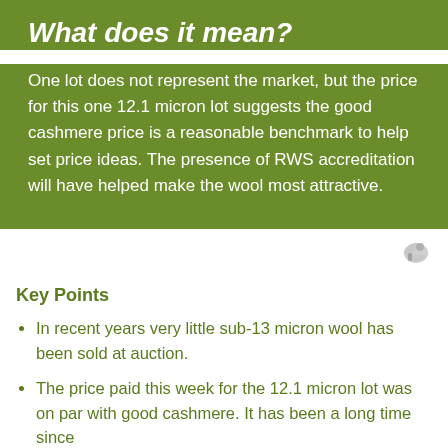What does it mean?
One lot does not represent the market, but the price for this one 12.1 micron lot suggests the good cashmere price is a reasonable benchmark to help set price ideas. The presence of RWS accreditation will have helped make the wool most attractive.
Key Points
In recent years very little sub-13 micron wool has been sold at auction.
The price paid this week for the 12.1 micron lot was on par with good cashmere. It has been a long time since